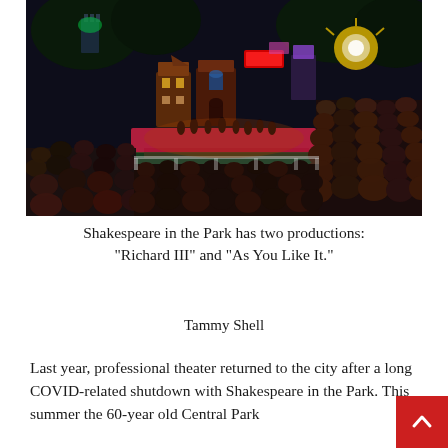[Figure (photo): Outdoor theater performance at night in Central Park — Shakespeare in the Park. A large amphitheater crowd watches an illuminated stage set with colorful buildings and castle backdrop, surrounded by trees lit with colored lights.]
Shakespeare in the Park has two productions: “Richard III” and “As You Like It.”
Tammy Shell
Last year, professional theater returned to the city after a long COVID-related shutdown with Shakespeare in the Park. This summer the 60-year old Central Park institution has doubled its fall season